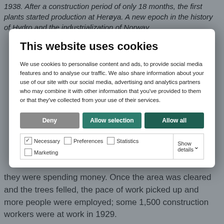1938. After a construction period of only 18 months, the first plants started production at Herøya. A new epoch in the history of Hydro and the industrialization of Norway.
This website uses cookies
We use cookies to personalise content and ads, to provide social media features and to analyse our traffic. We also share information about your use of our site with our social media, advertising and analytics partners who may combine it with other information that you've provided to them or that they've collected from your use of their services.
Deny | Allow selection | Allow all
Necessary  Preferences  Statistics  Marketing  Show details
they were spending money. Once the area was cleared and the trees felled, the pace of work picked up and more people were employed; some 1,500 construction workers were at work in 1929.